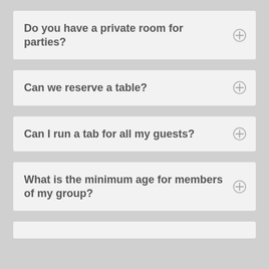Do you have a private room for parties?
Can we reserve a table?
Can I run a tab for all my guests?
What is the minimum age for members of my group?